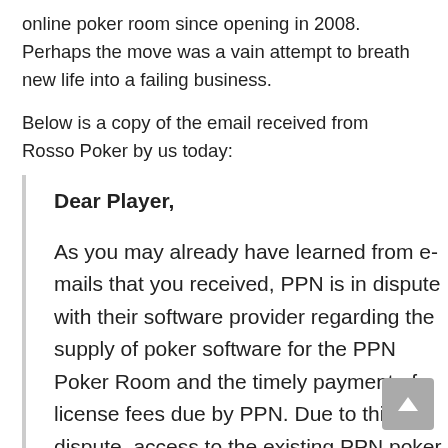online poker room since opening in 2008. Perhaps the move was a vain attempt to breath new life into a failing business.
Below is a copy of the email received from Rosso Poker by us today:
Dear Player,

As you may already have learned from e-mails that you received, PPN is in dispute with their software provider regarding the supply of poker software for the PPN Poker Room and the timely payment of license fees due by PPN. Due to this dispute, access to the existing PPN poker servers has been terminated as of 12:01pm ET